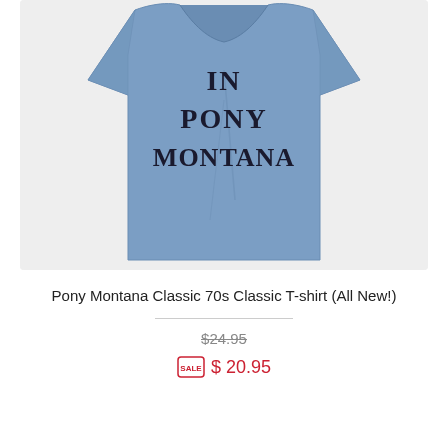[Figure (photo): A blue/steel-blue classic t-shirt with bold dark navy text reading 'IN PONY MONTANA' visible on the chest, displayed on a light gray background. The top of the shirt is partially cropped.]
Pony Montana Classic 70s Classic T-shirt (All New!)
$24.95 (strikethrough original price) SALE $20.95